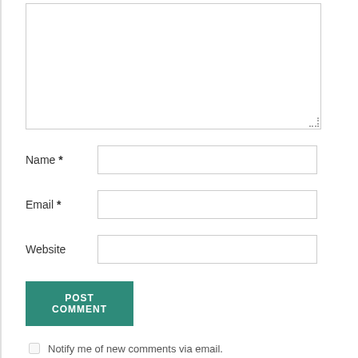[Figure (screenshot): Comment form textarea (large empty text input box with resize handle)]
Name *
Email *
Website
POST COMMENT
Notify me of new comments via email.